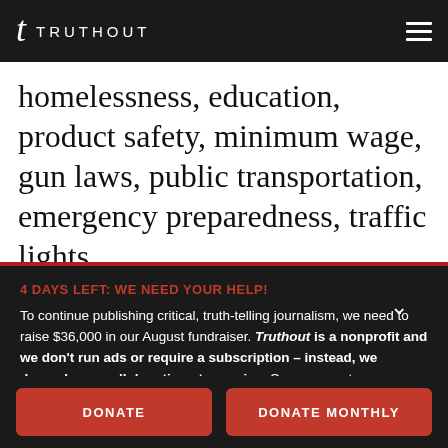TRUTHOUT
homelessness, education, product safety, minimum wage, gun laws, public transportation, emergency preparedness, traffic lights...
4 DAYS LEFT: WE NEED YOUR HELP!
To continue publishing critical, truth-telling journalism, we need to raise $36,000 in our August fundraiser. Truthout is a nonprofit and we don't run ads or require a subscription – instead, we depend on small donations to survive. Can we count on your support before time runs out?
DONATE
DONATE MONTHLY